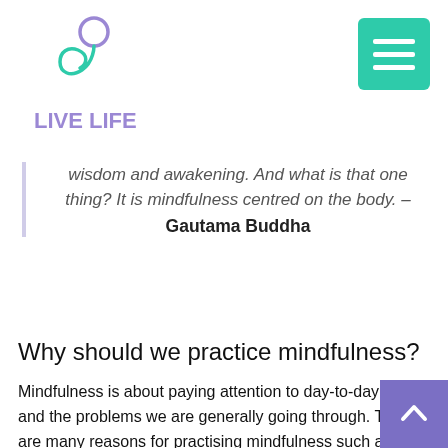[Figure (logo): Live Life logo with spiral/person icon in purple and teal, text LIVE LIFE below in purple/teal gradient]
wisdom and awakening. And what is that one thing? It is mindfulness centred on the body. – Gautama Buddha
Why should we practice mindfulness?
Mindfulness is about paying attention to day-to-day life and the problems we are generally going through. There are many reasons for practising mindfulness such as it helps clear the mind, it develops perspective, and helps you to focus and develop attention. Some of the other reasons for practising mindfulness regularly and making it a habit are mentioned below,